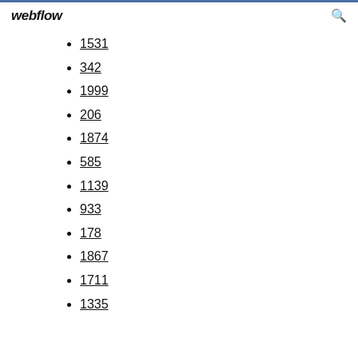webflow
1531
342
1999
206
1874
585
1139
933
178
1867
1711
1335